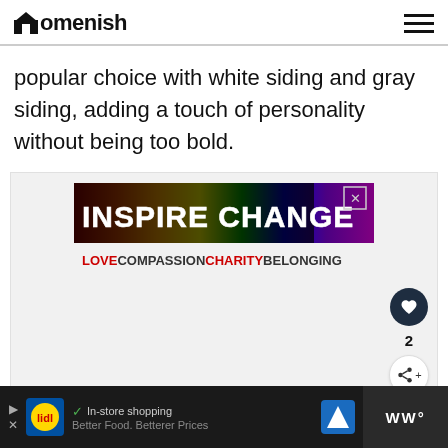Homenish
popular choice with white siding and gray siding, adding a touch of personality without being too bold.
[Figure (screenshot): Advertisement banner: INSPIRE CHANGE with rainbow colors, LOVE COMPASSION CHARITY BELONGING below]
[Figure (screenshot): Bottom advertisement bar: Lidl store ad with 'In-store shopping', 'Better Food. Betterer Prices', navigation icon, and WW logo]